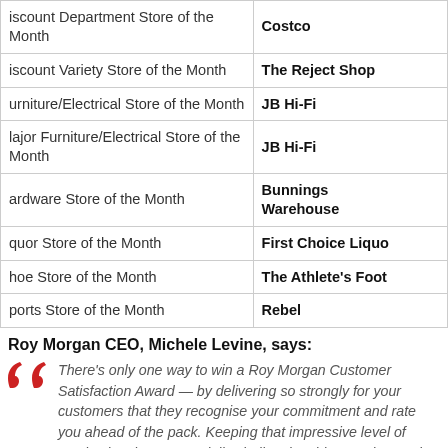| Category | Winner |
| --- | --- |
| iscount Department Store of the Month | Costco |
| iscount Variety Store of the Month | The Reject Shop |
| urniture/Electrical Store of the Month | JB Hi-Fi |
| lajor Furniture/Electrical Store of the Month | JB Hi-Fi |
| ardware Store of the Month | Bunnings Warehouse |
| quor Store of the Month | First Choice Liquo |
| hoe Store of the Month | The Athlete's Foot |
| ports Store of the Month | Rebel |
Roy Morgan CEO, Michele Levine, says:
There's only one way to win a Roy Morgan Customer Satisfaction Award — by delivering so strongly for your customers that they recognise your commitment and rate you ahead of the pack. Keeping that impressive level of service has been especially challenging this year, but each of these monthly winners has found a way to go